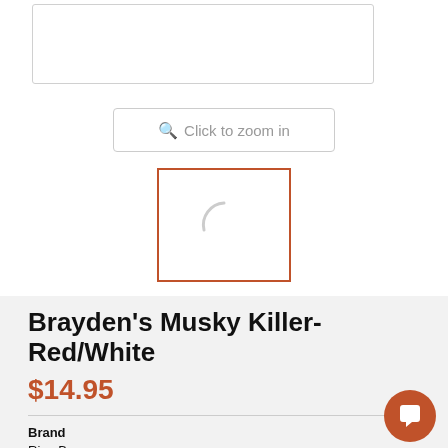[Figure (screenshot): Top portion of a product image viewer with a white rectangle box]
[Figure (screenshot): Click to zoom in button with magnifier icon]
[Figure (screenshot): Thumbnail image box with orange border showing a loading spinner]
Brayden's Musky Killer-Red/White
$14.95
Brand
RiverBum
SKU: